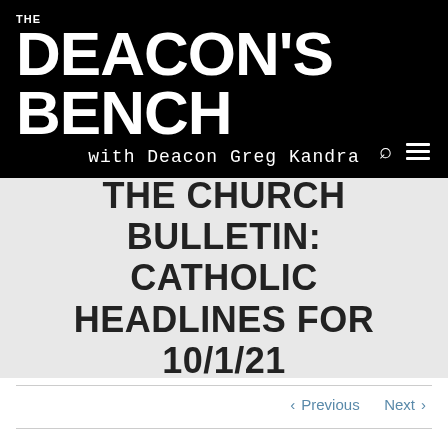THE DEACON'S BENCH with Deacon Greg Kandra
THE CHURCH BULLETIN: CATHOLIC HEADLINES FOR 10/1/21
< Previous   Next >